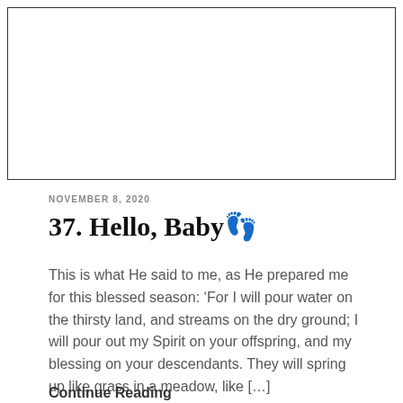[Figure (other): White rectangular image placeholder with a black border]
NOVEMBER 8, 2020
37. Hello, Baby👣
This is what He said to me, as He prepared me for this blessed season: ‘For I will pour water on the thirsty land, and streams on the dry ground; I will pour out my Spirit on your offspring, and my blessing on your descendants. They will spring up like grass in a meadow, like […]
Continue Reading